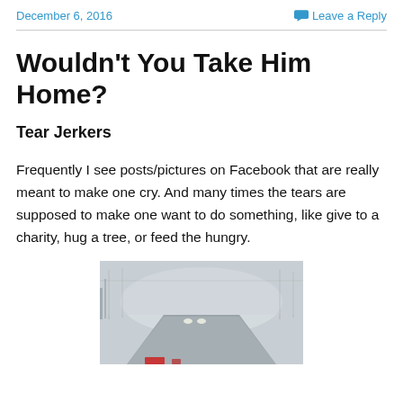December 6, 2016    Leave a Reply
Wouldn't You Take Him Home?
Tear Jerkers
Frequently I see posts/pictures on Facebook that are really meant to make one cry. And many times the tears are supposed to make one want to do something, like give to a charity, hug a tree, or feed the hungry.
[Figure (photo): A foggy road scene viewed through a windshield or window, with mist obscuring the landscape and faint vehicle lights visible in the distance. There appears to be a red object at the bottom of the frame.]